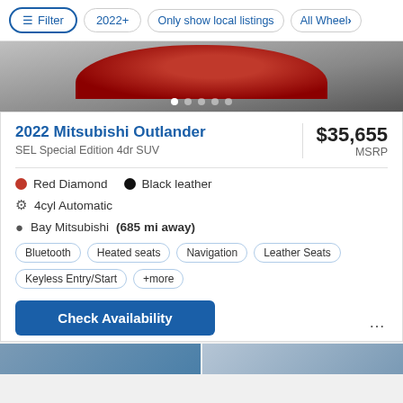Filter  2022+  Only show local listings  All Wheel
[Figure (photo): Partial view of a red Mitsubishi Outlander SUV front end, shown from above on a gray background, with five navigation dots at the bottom.]
2022 Mitsubishi Outlander
SEL Special Edition 4dr SUV
$35,655 MSRP
Red Diamond   Black leather
4cyl Automatic
Bay Mitsubishi (685 mi away)
Bluetooth  Heated seats  Navigation  Leather Seats  Keyless Entry/Start  +more
Check Availability